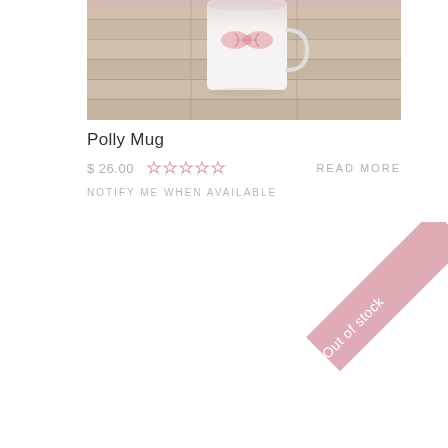[Figure (photo): Product photo of Polly Mug — a white ceramic mug with a pink bow design, placed on a wooden plank surface]
Polly Mug
$ 26.00   ★★★★★   READ MORE
NOTIFY ME WHEN AVAILABLE
[Figure (other): Pink diagonal ribbon banner with text 'Out of stock']